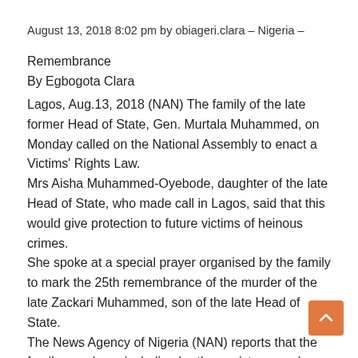August 13, 2018 8:02 pm by obiageri.clara – Nigeria –
Remembrance
By Egbogota Clara
Lagos, Aug.13, 2018 (NAN) The family of the late former Head of State, Gen. Murtala Muhammed, on Monday called on the National Assembly to enact a Victims' Rights Law. Mrs Aisha Muhammed-Oyebode, daughter of the late Head of State, who made call in Lagos, said that this would give protection to future victims of heinous crimes. She spoke at a special prayer organised by the family to mark the 25th remembrance of the murder of the late Zackari Muhammed, son of the late Head of State. The News Agency of Nigeria (NAN) reports that the family members, including brothers, sisters, nephews and neices, among others, held special prayers for him simultaneously in Lagos and Abuja. NAN recalls that Zackari, a finance graduate of the University of Canterbury in Kent, was shot dead on Aug.13, 1993 in Abuja.